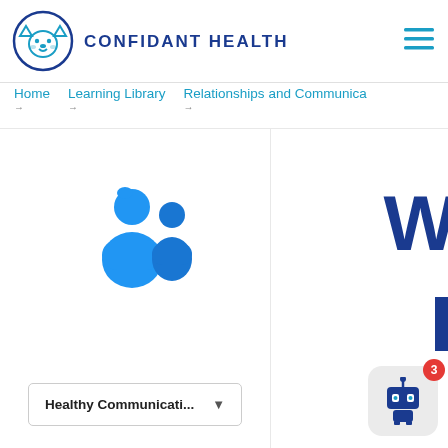[Figure (logo): Confidant Health logo: a cartoon fox/dog face inside a circle, teal/blue colors]
CONFIDANT HEALTH
[Figure (illustration): Hamburger menu icon (three horizontal teal lines)]
Home → Learning Library → Relationships and Communica →
[Figure (illustration): Two blue human silhouette figures representing relationships/communication]
[Figure (illustration): Partially visible large bold dark blue letter W and a blue vertical rectangle block on the right side]
Healthy Communicati...
[Figure (illustration): Robot chatbot icon in a rounded square with a red badge showing the number 3]